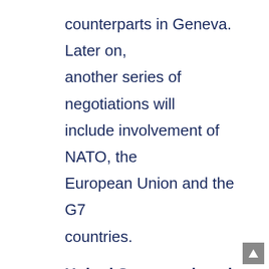counterparts in Geneva. Later on, another series of negotiations will include involvement of NATO, the European Union and the G7 countries.
United States actions in the region
The talks with the Russian Federation are one of the most uncertain moments for the United States since the collapse of the Soviet Union. By surrounding part of the